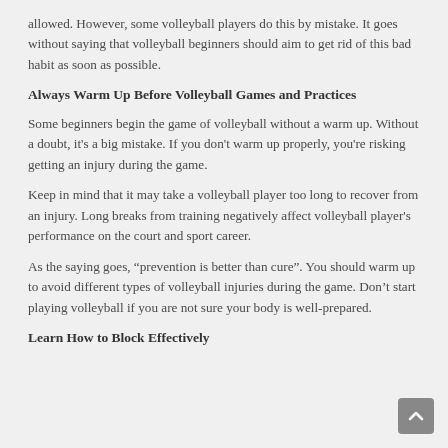allowed. However, some volleyball players do this by mistake. It goes without saying that volleyball beginners should aim to get rid of this bad habit as soon as possible.
Always Warm Up Before Volleyball Games and Practices
Some beginners begin the game of volleyball without a warm up. Without a doubt, it's a big mistake. If you don't warm up properly, you're risking getting an injury during the game.
Keep in mind that it may take a volleyball player too long to recover from an injury. Long breaks from training negatively affect volleyball player's performance on the court and sport career.
As the saying goes, “prevention is better than cure”. You should warm up to avoid different types of volleyball injuries during the game. Don’t start playing volleyball if you are not sure your body is well-prepared.
Learn How to Block Effectively